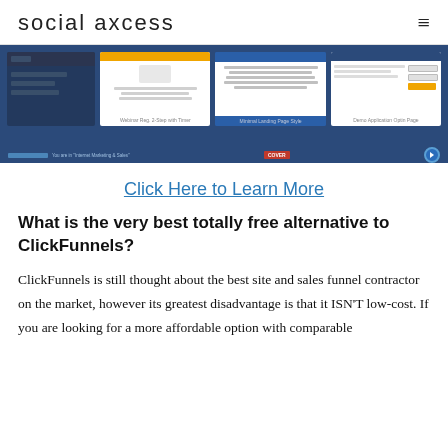social axcess
[Figure (screenshot): Screenshot of a website builder/funnel tool interface showing multiple page templates including landing pages and opt-in pages displayed in a blue-themed dashboard]
Click Here to Learn More
What is the very best totally free alternative to ClickFunnels?
ClickFunnels is still thought about the best site and sales funnel contractor on the market, however its greatest disadvantage is that it ISN'T low-cost. If you are looking for a more affordable option with comparable